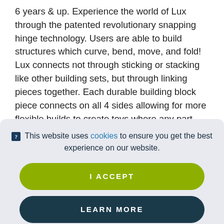6 years & up. Experience the world of Lux through the patented revolutionary snapping hinge technology. Users are able to build structures which curve, bend, move, and fold! Lux connects not through sticking or stacking like other building sets, but through linking pieces together. Each durable building block piece connects on all 4 sides allowing for more flexible builds to create toys where any part can move. The Lux Steam Primer set will keep young imaginations entertained for hours while immersing them into the STEM...
🛈 This website uses cookies to ensure you get the best experience on our website.
I ACCEPT
LEARN MORE